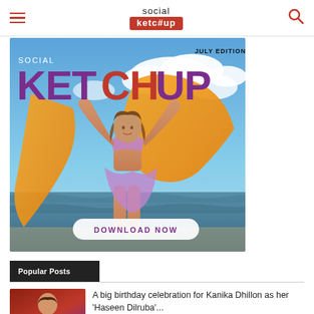social ketchup
[Figure (photo): Social Ketchup magazine cover - July Edition 2022. Features a woman in a purple bikini top and orange flowing dress/fabric against a beach/sky background. Text reads 'SOCIAL KETCHUP JULY EDITION 2022' with a 'DOWNLOAD NOW' button.]
Popular Posts
[Figure (photo): Thumbnail image of a woman, appears to be Kanika Dhillon, with warm-toned background]
A big birthday celebration for Kanika Dhillon as her 'Haseen Dilruba'...